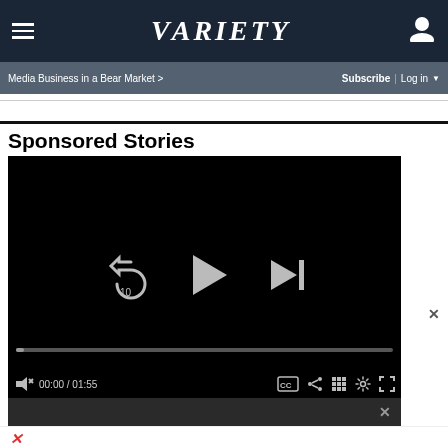≡  VARIETY  👤
Media Business in a Bear Market >   Subscribe | Log in ▼
Sponsored Stories
[Figure (screenshot): Video player showing paused state with replay-10, play, and skip-next controls. Progress bar at 0:00, total duration 01:55. Bottom control bar shows mute, timecode, CC, share, grid, settings, and fullscreen icons.]